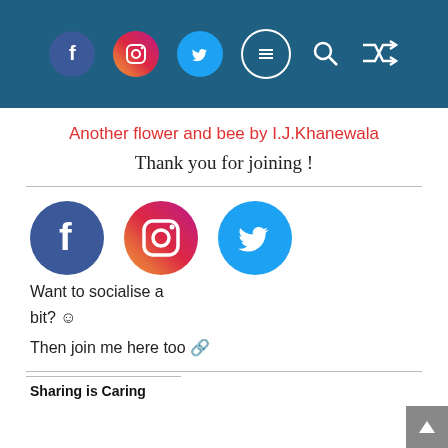[Navigation header with Facebook, Instagram, Twitter icons, menu, search, and shuffle icons]
Another flower and bee by I.J.Khanewala
Thank you for joining !
[Figure (infographic): Large Facebook, Instagram, and Twitter social media icons in a row]
Want to socialise a bit? ☺
Then join me here too 🔗
Sharing is Caring